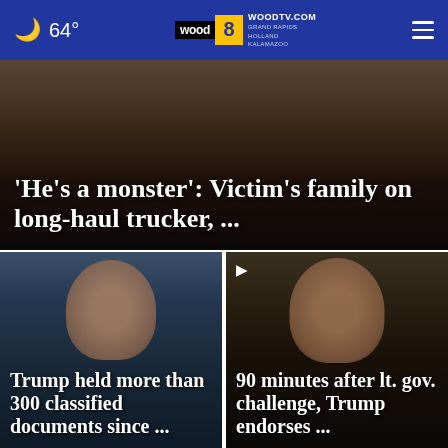🌙 64° | WOODTV.COM | WOOD 8 | GRAND RAPIDS, HOLLAND, KALAMAZOO
[Figure (photo): Hero news image with dark overlay and headline]
‘He’s a monster’: Victim’s family on long-haul trucker, ...
[Figure (photo): Photo of Donald Trump pointing, with headline overlay]
Trump held more than 300 classified documents since ...
[Figure (photo): Photo of Donald Trump looking stern, with video play icon and headline overlay]
90 minutes after lt. gov. challenge, Trump endorses ...